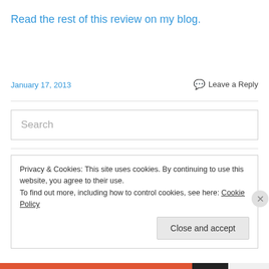Read the rest of this review on my blog.
January 17, 2013
Leave a Reply
Search
Privacy & Cookies: This site uses cookies. By continuing to use this website, you agree to their use.
To find out more, including how to control cookies, see here: Cookie Policy
Close and accept